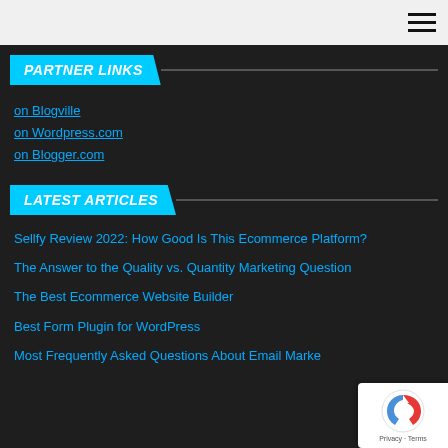Navigation menu (hamburger icon)
PARTNER LINKS
on Blogville
on Wordpress.com
on Blogger.com
LATEST ARTICLES
Sellfy Review 2022: How Good Is This Ecommerce Platform?
The Answer to the Quality vs. Quantity Marketing Question
The Best Ecommerce Website Builder
Best Form Plugin for WordPress
Most Frequently Asked Questions About Email Marke...
[Figure (logo): Google reCAPTCHA badge with Privacy and Terms links]